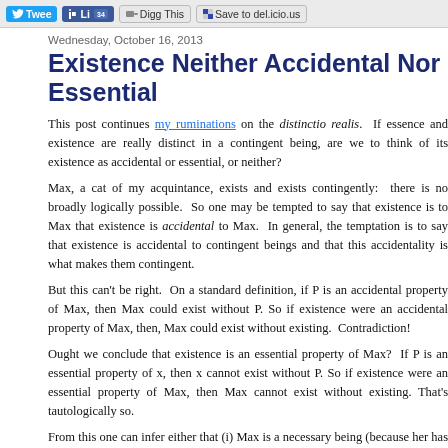Tweet | Like | Digg This | Save to del.icio.us
Wednesday, October 16, 2013
Existence Neither Accidental Nor Essential
This post continues my ruminations on the distinctio realis. If essence and existence are really distinct in a contingent being, are we to think of its existence as accidental or essential, or neither?
Max, a cat of my acquintance, exists and exists contingently: there is no broadly logically possible. So one may be tempted to say that existence is to Max that existence is accidental to Max. In general, the temptation is to say that existence is accidental to contingent beings and that this accidentality is what makes them contingent.
But this can't be right. On a standard definition, if P is an accidental property of Max, then Max could exist without P. So if existence were an accidental property of Max, then, Max could exist without existing. Contradiction!
Ought we conclude that existence is an essential property of Max? If P is an essential property of x, then x cannot exist without P. So if existence were an essential property of Max, then Max cannot exist without existing. That's tautologically so.
From this one can infer either that (i) Max is a necessary being (because her has existence as an essential property is not the genuine article. Now Max is surely not a necessary being, so from this one cannot validly infer that he exists. Suppose existence is a first-level property, existence is an essential property of everything. After all, in every possible world that existence construed as an essential property is not gen-u-ine, pound-the-table c
We ought to conclude that existence is neither accidental to a contingent thing, nor essential to it if existence follows from its essence. And no contingent thing is such that its conti existence is an essential property of its The existence of Max is what makes Max